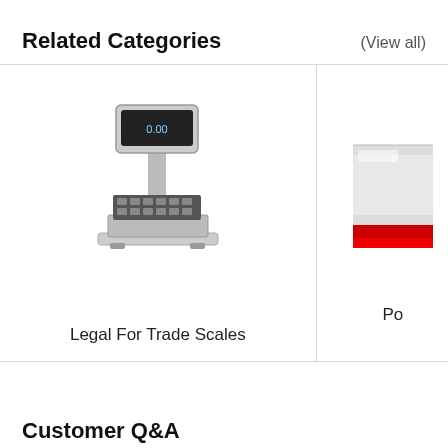Related Categories
(View all)
[Figure (photo): A legal-for-trade retail price computing scale with a pole-mounted display screen and keypad.]
Legal For Trade Scales
[Figure (photo): Partial view of another scale category, cropped at right edge, showing a silver/red scale.]
Po
Customer Q&A
Ask a Question